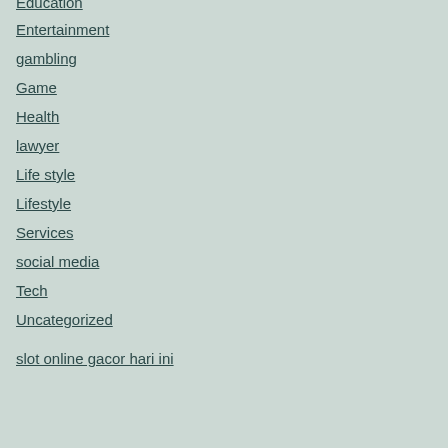Education
Entertainment
gambling
Game
Health
lawyer
Life style
Lifestyle
Services
social media
Tech
Uncategorized
slot online gacor hari ini